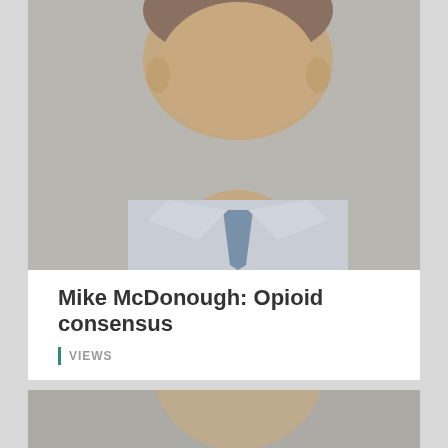[Figure (photo): Headshot of Mike McDonough, a man in a dress shirt and tie, cropped at chest level, gray background.]
Mike McDonough: Opioid consensus
VIEWS
[Figure (photo): Headshot of a man with dark hair, smiling, gray background, cropped at chin level.]